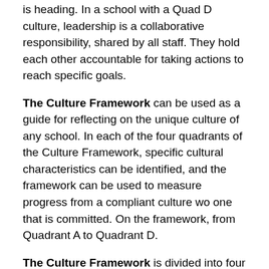is heading. In a school with a Quad D culture, leadership is a collaborative responsibility, shared by all staff. They hold each other accountable for taking actions to reach specific goals.
The Culture Framework can be used as a guide for reflecting on the unique culture of any school. In each of the four quadrants of the Culture Framework, specific cultural characteristics can be identified, and the framework can be used to measure progress from a compliant culture wo one that is committed. On the framework, from Quadrant A to Quadrant D.
The Culture Framework is divided into four quadrants. But unlike the Rigor/Relevance Framework®, both the vertical and horizontal axis are labeled along a trust continuum. This important distinction is because more